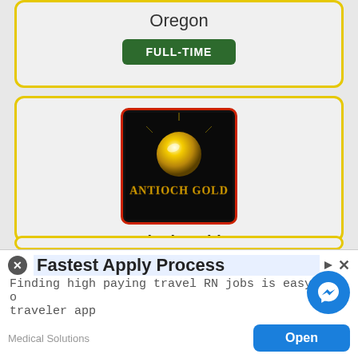Oregon
FULL-TIME
[Figure (logo): Antioch Gold logo — dark background with glowing gold sphere and text 'ANTIOCH GOLD' in gold lettering]
Antioch Gold™
Territory Sales Representative for Recreational Cannabis Farm in Eugene Oregon
FULL-TIME
Fastest Apply Process
Finding high paying travel RN jobs is easy with o... traveler app
Medical Solutions
Open